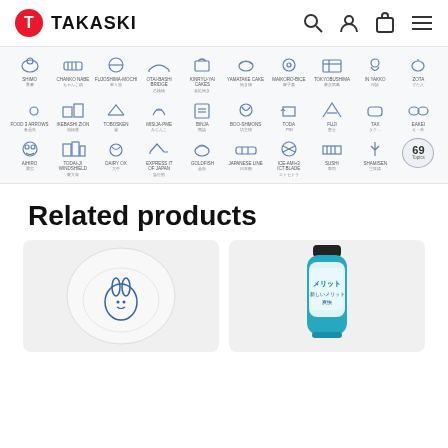TAKASKI
[Figure (infographic): Grid of Japanese culture/landmark icon categories with labels, including SHIMO, CHANKO NABE, FUJOSHIMA-MOCHI, OTAI-BASHI BRIDGE, KINRYU-YAI CAKE, YAMATAKE CAKE, MAIKORO-BICE, TOKYOBUSHIMA, IN YAKKO, ZOTA, FOOD 3 ARROWS, IKEBASHI ZION, TOBOSKEN, MISIJA-PME, BINJA, BOO-SHMONS, TODA, FUJI, TAX, EAKEI, AIHIRO, TODAI-JI WINDSHIELD, DAIRY OX, EXPRESS IT, GOLDFISH, JAPANESE LINE, ICE-AMI+3 ICT BLADE, SUSHI, SHAMISEN, and 69 Topics badge]
Related products
[Figure (photo): White ceramic plate with blue rabbit illustration]
[Figure (photo): Blue and white Merit shampoo refill bottle]